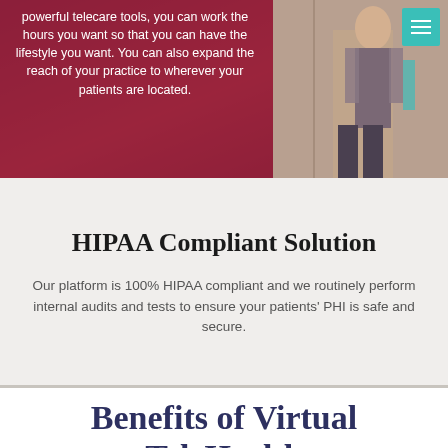[Figure (photo): Hero banner with dark red/maroon overlay on left showing partial view of person in dark red top, and right side showing woman standing near a wall, with teal hamburger menu button in top right corner]
powerful telecare tools, you can work the hours you want so that you can have the lifestyle you want. You can also expand the reach of your practice to wherever your patients are located.
HIPAA Compliant Solution
Our platform is 100% HIPAA compliant and we routinely perform internal audits and tests to ensure your patients' PHI is safe and secure.
Benefits of Virtual TeleHealth